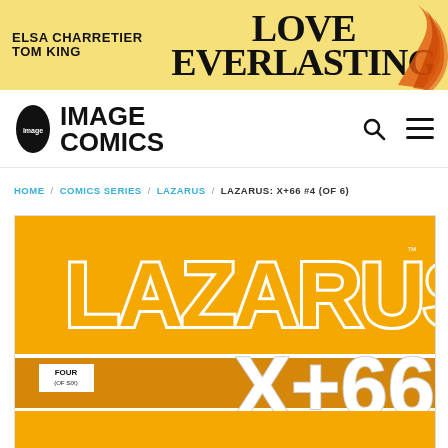[Figure (screenshot): Banner advertisement for 'Love Everlasting' by Elsa Charretier and Tom King on a yellow background with flame decorations]
[Figure (logo): Image Comics logo — black oval with 'image' text inside, next to bold text reading IMAGE COMICS]
HOME / COMICS SERIES / LAZARUS / LAZARUS: X+66 #4 (OF 6)
[Figure (illustration): Comic book cover for Lazarus X+66 #4 (of 6) — orange background with large white-outlined LAZARUS logo and X+66 text, label reading FOUR (OF SIX)]